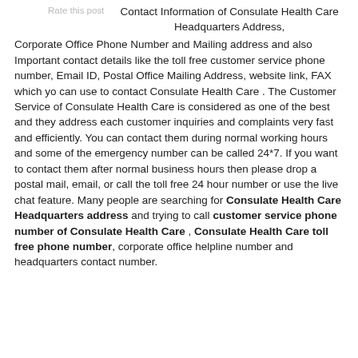Rate this post
Contact Information of Consulate Health Care Headquarters Address, Corporate Office Phone Number and Mailing address and also Important contact details like the toll free customer service phone number, Email ID, Postal Office Mailing Address, website link, FAX which yo can use to contact Consulate Health Care . The Customer Service of Consulate Health Care is considered as one of the best and they address each customer inquiries and complaints very fast and efficiently. You can contact them during normal working hours and some of the emergency number can be called 24*7. If you want to contact them after normal business hours then please drop a postal mail, email, or call the toll free 24 hour number or use the live chat feature. Many people are searching for Consulate Health Care Headquarters address and trying to call customer service phone number of Consulate Health Care , Consulate Health Care toll free phone number, corporate office helpline number and headquarters contact number.